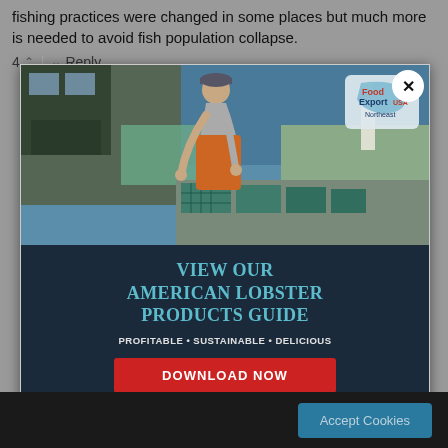fishing practices were changed in some places but much more is needed to avoid fish population collapse.
4 ^ | v Reply
[Figure (photo): Advertisement popup overlay showing a fisherman on a boat handling lobster traps on a dock with water and a lighthouse in the background. Food Export USA Northeast logo badge in upper right corner. Dark navy blue bottom section with text 'VIEW OUR AMERICAN LOBSTER PRODUCTS GUIDE', tagline 'PROFITABLE • SUSTAINABLE • DELICIOUS', and a red 'DOWNLOAD NOW' button. Close button (X) in upper right. Red horizontal line at bottom of ad.]
Accept Cookies